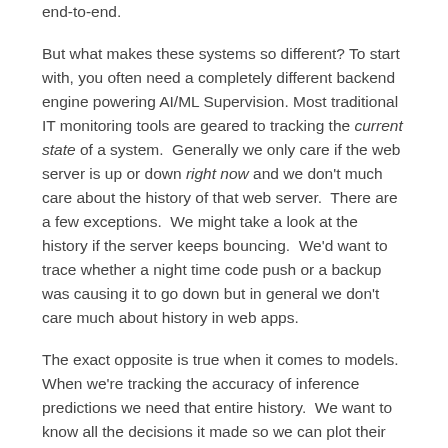end-to-end.
But what makes these systems so different? To start with, you often need a completely different backend engine powering AI/ML Supervision. Most traditional IT monitoring tools are geared to tracking the current state of a system.  Generally we only care if the web server is up or down right now and we don't much care about the history of that web server.  There are a few exceptions.  We might take a look at the history if the server keeps bouncing.  We'd want to trace whether a night time code push or a backup was causing it to go down but in general we don't care much about history in web apps.
The exact opposite is true when it comes to models. When we're tracking the accuracy of inference predictions we need that entire history.  We want to know all the decisions it made so we can plot their accuracy or declining accuracy over time.